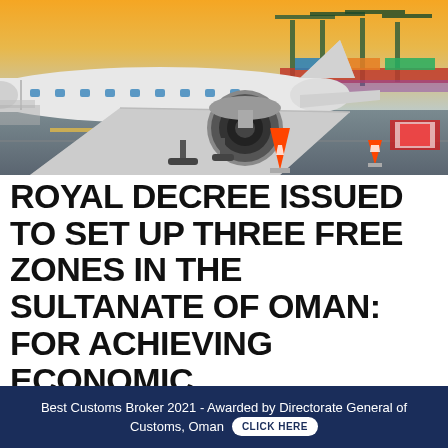[Figure (photo): Photograph of a commercial airplane on an airport tarmac with orange traffic cones visible, and a container port with cranes visible in the background at sunset/dusk.]
ROYAL DECREE ISSUED TO SET UP THREE FREE ZONES IN THE SULTANATE OF OMAN: FOR ACHIEVING ECONOMIC DIVERSIFICATION AND FINANCIAL SUSTAINABILITY
Best Customs Broker 2021 - Awarded by Directorate General of Customs, Oman CLICK HERE